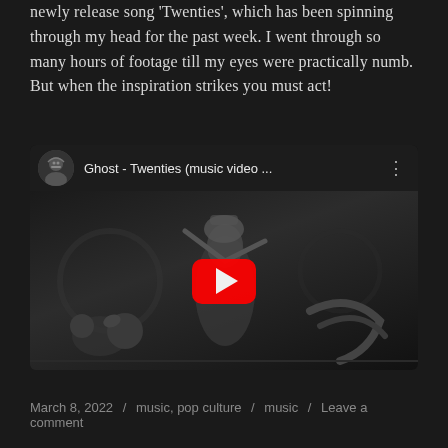newly release song 'Twenties', which has been spinning through my head for the past week. I went through so many hours of footage till my eyes were practically numb. But when the inspiration strikes you must act!
[Figure (screenshot): Embedded YouTube video player showing 'Ghost - Twenties (music video ...' with a black-and-white carousel scene thumbnail and red YouTube play button.]
March 8, 2022 / music, pop culture / music / Leave a comment